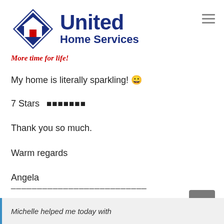[Figure (logo): United Home Services logo: blue diamond with white house outline and red square, text 'United Home Services' in dark navy bold, tagline 'More time for life!' in red italic]
My home is literally sparkling! 😊
7 Stars  ⭐⭐⭐⭐⭐⭐⭐
Thank you so much.
Warm regards
Angela
——————————————————————————
Michelle helped me today with